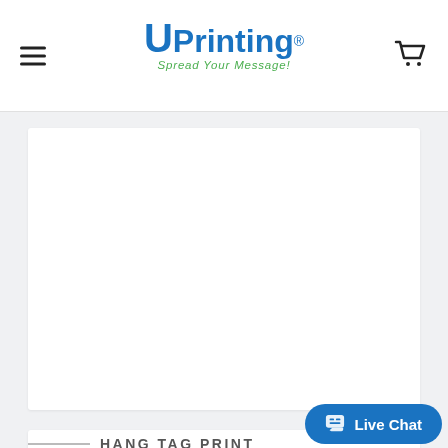UPrinting — Spread Your Message!
[Figure (photo): Large white image area placeholder for product photo]
HANG TAG PRINTING
[Figure (other): Live Chat button widget]